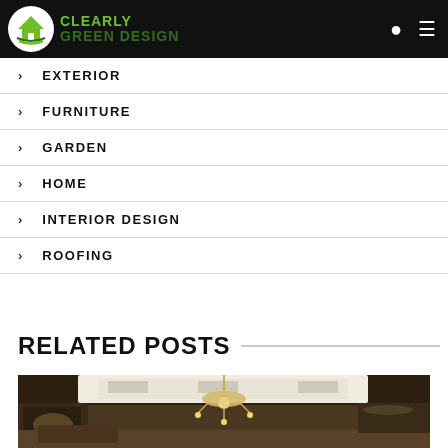Clearly Green Design
EXTERIOR
FURNITURE
GARDEN
HOME
INTERIOR DESIGN
ROOFING
RELATED POSTS
[Figure (photo): Interior room photo showing a decorated ceiling with chandelier lighting and recessed lights, dark wood paneling on walls]